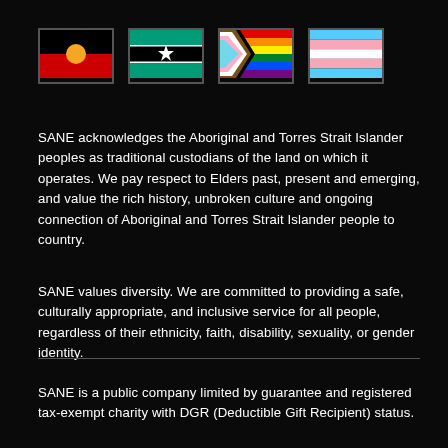[Figure (illustration): Four flags in a row: Aboriginal flag, Torres Strait Islander flag, Progress Pride flag, Transgender Pride flag]
SANE acknowledges the Aboriginal and Torres Strait Islander peoples as traditional custodians of the land on which it operates. We pay respect to Elders past, present and emerging, and value the rich history, unbroken culture and ongoing connection of Aboriginal and Torres Strait Islander people to country.
SANE values diversity. We are committed to providing a safe, culturally appropriate, and inclusive service for all people, regardless of their ethnicity, faith, disability, sexuality, or gender identity.
SANE is a public company limited by guarantee and registered tax-exempt charity with DGR (Deductible Gift Recipient) status.